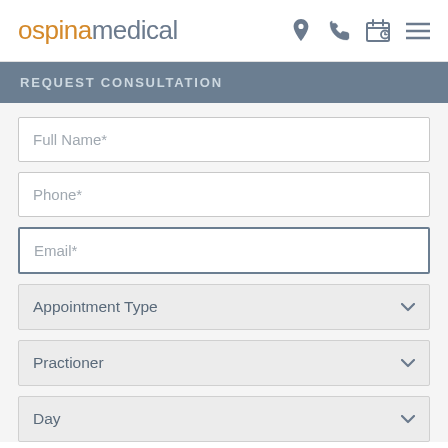ospinamedical [location icon] [phone icon] [calendar icon] [menu icon]
REQUEST CONSULTATION
Full Name*
Phone*
Email*
Appointment Type
Practioner
Day